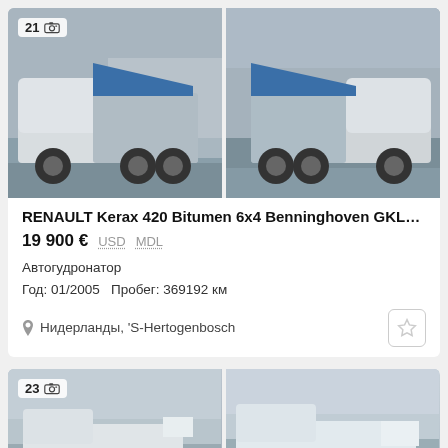[Figure (photo): Two photos of a Renault Kerax 420 bitumen truck with blue tipper body, shown from front-left and front-right angles in a yard setting]
RENAULT Kerax 420 Bitumen 6x4 Benninghoven GKL12...
19 900 €   USD   MDL
Автогудронатор
Год: 01/2005   Пробег: 369192 км
Нидерланды, 'S-Hertogenbosch
[Figure (photo): Two partially visible photos of another truck listing, number 23, showing utility/service trucks in a yard]